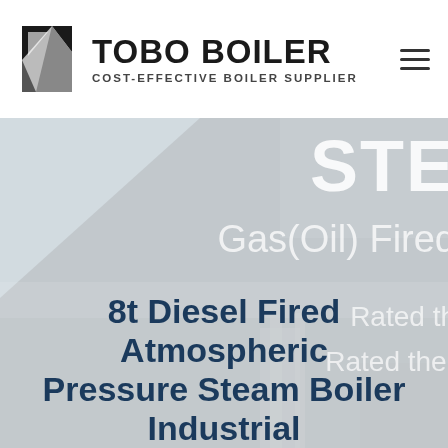[Figure (logo): TOBO BOILER logo with geometric black and white icon on the left and bold text 'TOBO BOILER' with subtitle 'COST-EFFECTIVE BOILER SUPPLIER']
[Figure (photo): Hero banner showing a steel industrial boiler facility in background with light grey/blue tone. Overlaid white text partially visible: 'STE...', 'Gas(Oil) Fired...', 'Rated th...', 'Rated ther...']
8t Diesel Fired Atmospheric Pressure Steam Boiler Industrial